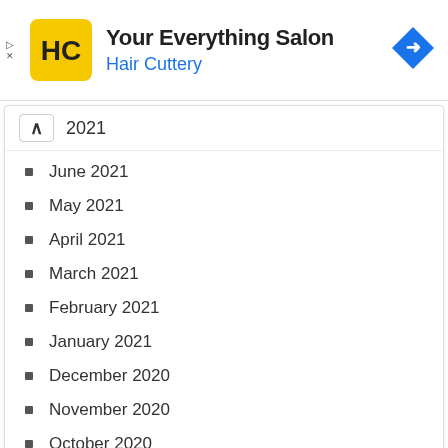[Figure (logo): Hair Cuttery advertisement banner with HC logo in yellow square, title 'Your Everything Salon', subtitle 'Hair Cuttery' in blue, and a blue navigation diamond icon on the right]
2021
June 2021
May 2021
April 2021
March 2021
February 2021
January 2021
December 2020
November 2020
October 2020
September 2020
August 2020
July 2020